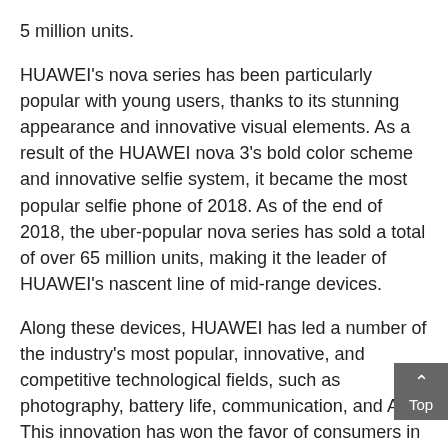5 million units.
HUAWEI's nova series has been particularly popular with young users, thanks to its stunning appearance and innovative visual elements. As a result of the HUAWEI nova 3's bold color scheme and innovative selfie system, it became the most popular selfie phone of 2018. As of the end of 2018, the uber-popular nova series has sold a total of over 65 million units, making it the leader of HUAWEI's nascent line of mid-range devices.
Along these devices, HUAWEI has led a number of the industry's most popular, innovative, and competitive technological fields, such as photography, battery life, communication, and AI. This innovation has won the favor of consumers in Sri Lanka and all around the world, leading the industry.
It's important to remember that a smartphone serves as the bridge between the physical and virtual worlds, and to continue to play that role, it must constantly store and protect more and more information. Therefore, HUAWEI believes that the privacy and security of its users is just as important as making